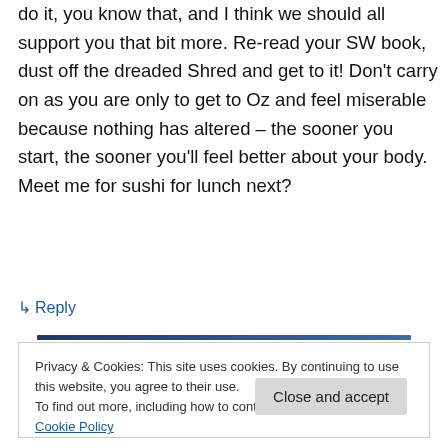do it, you know that, and I think we should all support you that bit more. Re-read your SW book, dust off the dreaded Shred and get to it! Don't carry on as you are only to get to Oz and feel miserable because nothing has altered – the sooner you start, the sooner you'll feel better about your body. Meet me for sushi for lunch next?
↳ Reply
Privacy & Cookies: This site uses cookies. By continuing to use this website, you agree to their use.
To find out more, including how to control cookies, see here: Cookie Policy